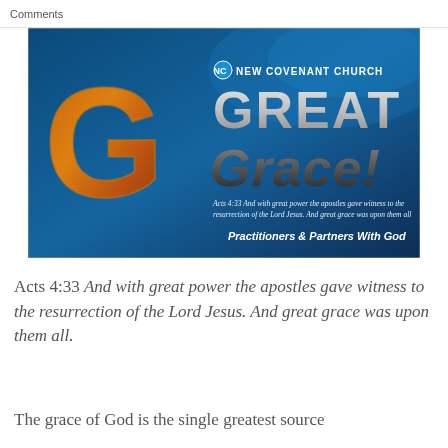Comments
[Figure (illustration): New Covenant Church - Great Grace promotional image with large 3D text reading GREAT Grace! with a large bronze/orange G letter on left, underwater blue background, text: Acts 4:33 And with great power the apostles gave witness to the resurrection of the Lord Jesus. And great grace was upon them all. Practitioners & Partners With God]
Acts 4:33 And with great power the apostles gave witness to the resurrection of the Lord Jesus. And great grace was upon them all.
The grace of God is the single greatest source